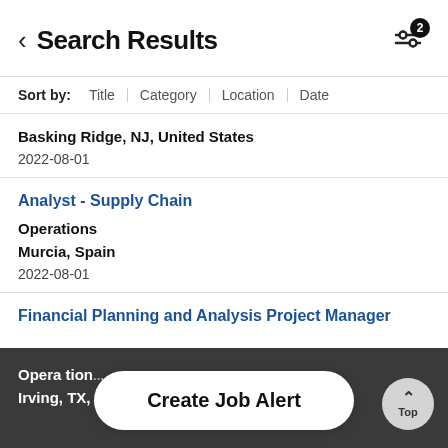Search Results
Sort by: Title | Category | Location | Date
Basking Ridge, NJ, United States
2022-08-01
Analyst - Supply Chain
Operations
Murcia, Spain
2022-08-01
Financial Planning and Analysis Project Manager
Operations
Irving, TX, U...
Create Job Alert